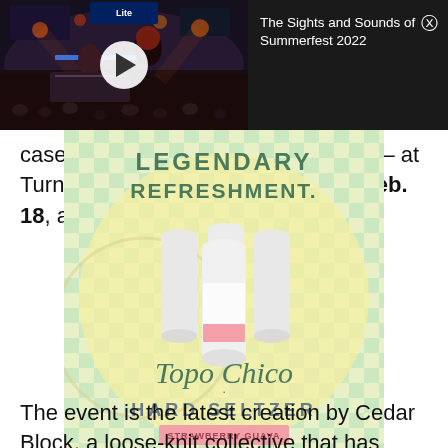[Figure (screenshot): Video thumbnail of a concert/event crowd at Summerfest 2022 with a white play button overlay]
The Sights and Sounds of Summerfest 2022
case you couldn't tell from the above – at Turner Hall Ballroom on Saturday, Feb. 18, at 8 p.m.
[Figure (advertisement): Topo Chico Hard Seltzer advertisement showing cans with text LEGENDARY REFRESHMENT, Topo Chico, Hard Seltzer, Strawberry Guava flavor on a yellow-green checkerboard background]
The event is the latest creation by Cedar Block, a loose-knit collective that has hosted a couple adult science fairs, some Milwaukee Film events and a half dozen performances at Milwaukee Art